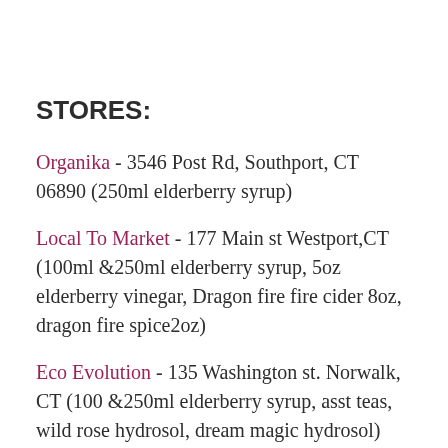STORES:
Organika - 3546 Post Rd, Southport, CT 06890 (250ml elderberry syrup)
Local To Market - 177 Main st Westport,CT (100ml &250ml elderberry syrup, 5oz elderberry vinegar, Dragon fire fire cider 8oz, dragon fire spice2oz)
Eco Evolution - 135 Washington st. Norwalk, CT (100 &250ml elderberry syrup, asst teas, wild rose hydrosol, dream magic hydrosol)
Gilbertie's herb & garden center - Westport,CT ( 250ml Elderberry syrup)